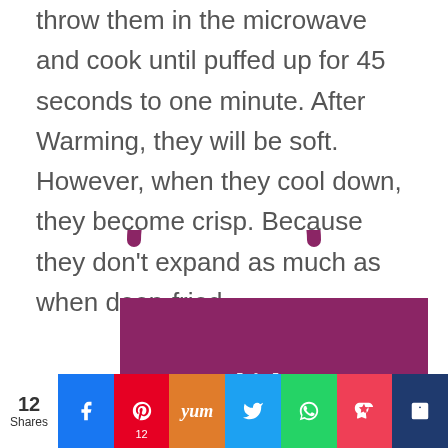Papadums don't need to be fried – just throw them in the microwave and cook until puffed up for 45 seconds to one minute. After Warming, they will be soft. However, when they cool down, they become crisp. Because they don't expand as much as when deep-fried.
[Figure (illustration): Shopping bag icon outline with handle in dark pink/magenta color, partially overlapping a large solid dark magenta/purple rectangle below it with text 'Butter Chicken' partially visible]
12 Shares | Facebook | Pinterest 12 | Yummly | Twitter | WhatsApp | Pocket | Mix